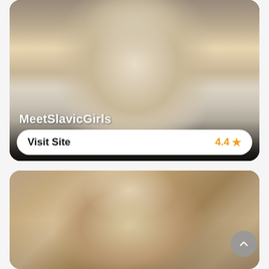[Figure (photo): Card with photo of woman with long blonde wavy hair wearing white top, with MeetSlavicGirls label and Visit Site button rated 4.4 stars]
MeetSlavicGirls
Visit Site  4.4 ★
[Figure (photo): Card with photo of woman with long brown hair taking a selfie]